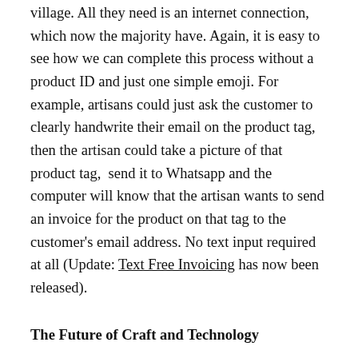village. All they need is an internet connection, which now the majority have. Again, it is easy to see how we can complete this process without a product ID and just one simple emoji. For example, artisans could just ask the customer to clearly handwrite their email on the product tag, then the artisan could take a picture of that product tag,  send it to Whatsapp and the computer will know that the artisan wants to send an invoice for the product on that tag to the customer's email address. No text input required at all (Update: Text Free Invoicing has now been released).
The Future of Craft and Technology